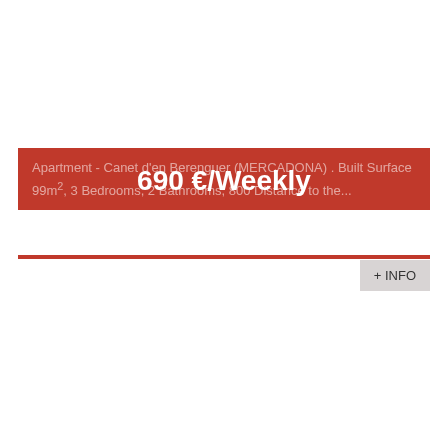Apartment - Canet d'en Berenguer (MERCADONA) . Built Surface 99m², 3 Bedrooms, 2 Bathrooms, 800 Distance to the...
690 €/Weekly
+ INFO